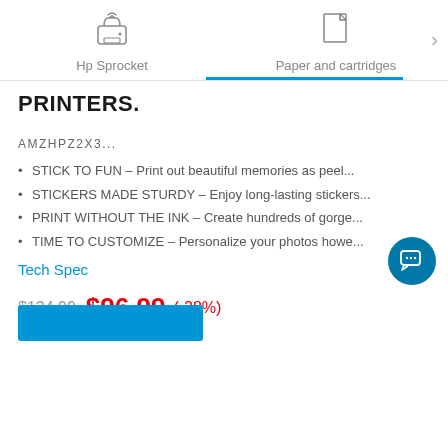[Figure (screenshot): Navigation bar with Hp Sprocket icon and Paper and cartridges icon, blue underline under Paper and cartridges, arrow on right]
PRINTERS.
AMZHPZ2X3...
STICK TO FUN – Print out beautiful memories as peel...
STICKERS MADE STURDY – Enjoy long-lasting stickers...
PRINT WITHOUT THE INK – Create hundreds of gorge...
TIME TO CUSTOMIZE – Personalize your photos howe...
Tech Spec
$134.99  $96.99 (-28%)